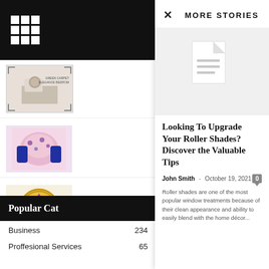[Figure (screenshot): Sidebar with grid icon header (black background), three article thumbnail images, and a Popular Categories bar]
MORE STORIES
[Figure (illustration): Gray placeholder image with a document/file icon in the center]
Looking To Upgrade Your Roller Shades? Discover the Valuable Tips
John Smith - October 19, 2021
Roller shades are one of the most popular window treatments because of their clean appearance and ability to easily blend with the home décor...
Popular Cat
Business 234
Proffesional Services 65